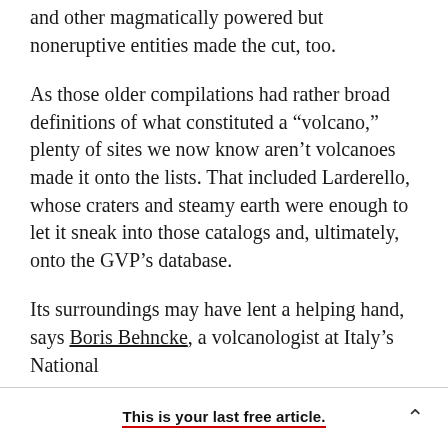and other magmatically powered but noneruptive entities made the cut, too.
As those older compilations had rather broad definitions of what constituted a “volcano,” plenty of sites we now know aren’t volcanoes made it onto the lists. That included Larderello, whose craters and steamy earth were enough to let it sneak into those catalogs and, ultimately, onto the GVP’s database.
Its surroundings may have lent a helping hand, says Boris Behncke, a volcanologist at Italy’s National
This is your last free article.